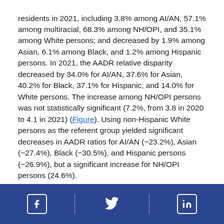residents in 2021, including 3.8% among AI/AN, 57.1% among multiracial, 68.3% among NH/OPI, and 35.1% among White persons; and decreased by 1.9% among Asian, 6.1% among Black, and 1.2% among Hispanic persons. In 2021, the AADR relative disparity decreased by 34.0% for AI/AN, 37.6% for Asian, 40.2% for Black, 37.1% for Hispanic, and 14.0% for White persons. The increase among NH/OPI persons was not statistically significant (7.2%, from 3.8 in 2020 to 4.1 in 2021) (Figure). Using non-Hispanic White persons as the referent group yielded significant decreases in AADR ratios for AI/AN (−23.2%), Asian (−27.4%), Black (−30.5%), and Hispanic persons (−26.9%), but a significant increase for NH/OPI persons (24.6%).
Social media icons: Facebook, Twitter, LinkedIn